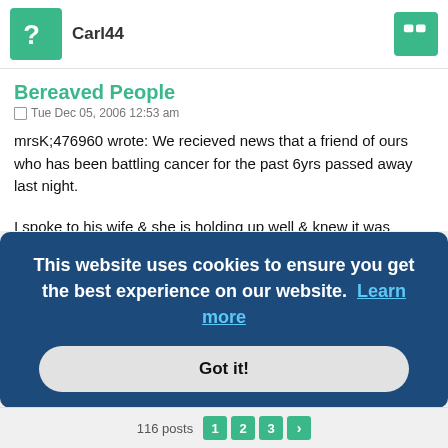Carl44
Bereaved People
Tue Dec 05, 2006 12:53 am
mrsK;476960 wrote: We recieved news that a friend of ours who has been battling cancer for the past 6yrs passed away last night.
I spoke to his wife & she is holding up well & knew it was inevitable,she is finding it hard as her son died earlier this year .
[Figure (screenshot): Cookie consent overlay banner with dark blue background reading 'This website uses cookies to ensure you get the best experience on our website. Learn more' and a 'Got it!' button]
116 posts  1  2  3  >